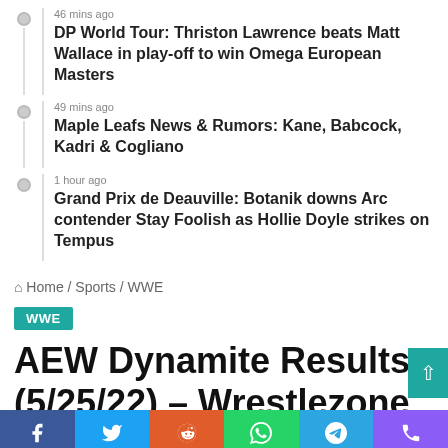46 mins ago — DP World Tour: Thriston Lawrence beats Matt Wallace in play-off to win Omega European Masters
49 mins ago — Maple Leafs News & Rumors: Kane, Babcock, Kadri & Cogliano
1 hour ago — Grand Prix de Deauville: Botanik downs Arc contender Stay Foolish as Hollie Doyle strikes on Tempus
Home / Sports / WWE
WWE
AEW Dynamite Results (5/25/22) – Wrestlezone